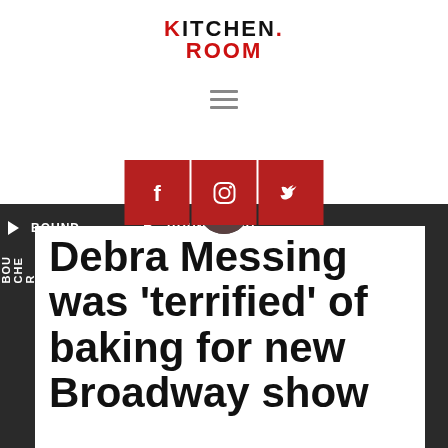[Figure (logo): Kitchen-Room logo with K in red and ROOM in red]
[Figure (infographic): Hamburger menu icon (three horizontal lines)]
[Figure (infographic): Three social media icon buttons: Facebook (f), Instagram, Twitter on red background squares]
[Figure (photo): Dark background banner with BOUNDABOU text and triangular play icons. Partial photo of a person's head visible at top center.]
Debra Messing was 'terrified' of baking for new Broadway show